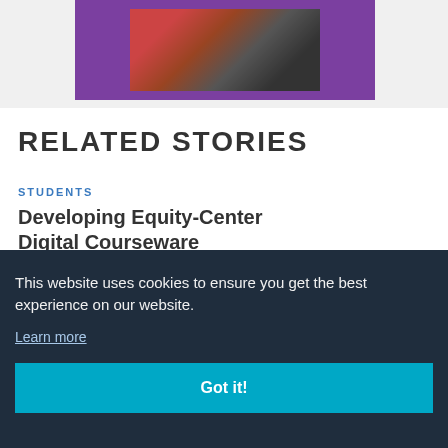[Figure (photo): People sitting around a table playing a board game, photo shown inside a purple-bordered frame on a light gray background]
RELATED STORIES
STUDENTS
Developing Equity-Center Digital Courseware
This website uses cookies to ensure you get the best experience on our website.
Learn more
Got it!